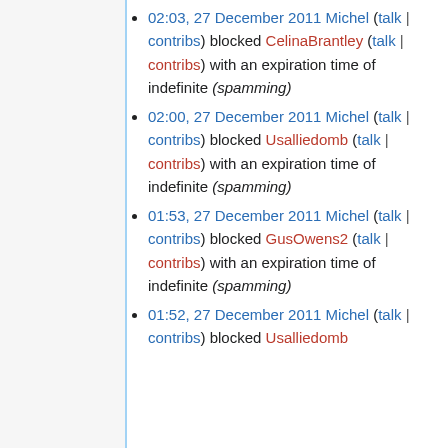02:03, 27 December 2011 Michel (talk | contribs) blocked CelinaBrantley (talk | contribs) with an expiration time of indefinite (spamming)
02:00, 27 December 2011 Michel (talk | contribs) blocked Usalliedomb (talk | contribs) with an expiration time of indefinite (spamming)
01:53, 27 December 2011 Michel (talk | contribs) blocked GusOwens2 (talk | contribs) with an expiration time of indefinite (spamming)
01:52, 27 December 2011 Michel (talk | contribs) blocked Usalliedomb
Console (2) | Queries (778) | Debug log (1921) | Request | PHP includes (1113) | MediaWiki: 1.37.1 | PHP: 7.3.27-1~deb10u1 | Time: 1.55715 Memory: 11.74 MB (Peak: 12.11 MB)